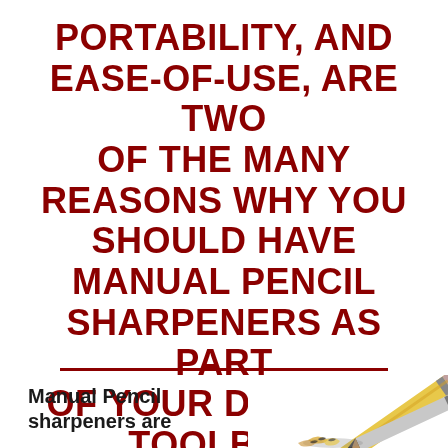PORTABILITY, AND EASE-OF-USE, ARE TWO OF THE MANY REASONS WHY YOU SHOULD HAVE MANUAL PENCIL SHARPENERS AS PART OF YOUR DRAWING TOOLBOX.
Manual Pencil sharpeners are
[Figure (photo): Photo of pencils with shavings at bottom right corner of the page]